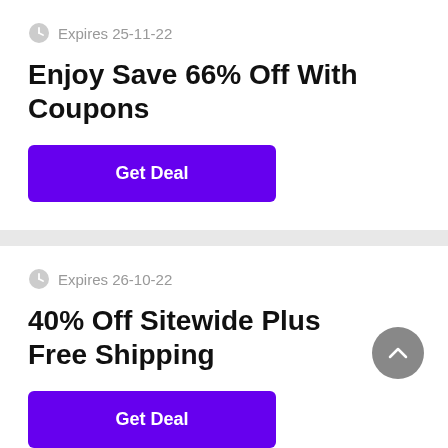Expires 25-11-22
Enjoy Save 66% Off With Coupons
Get Deal
Expires 26-10-22
40% Off Sitewide Plus Free Shipping
Get Deal